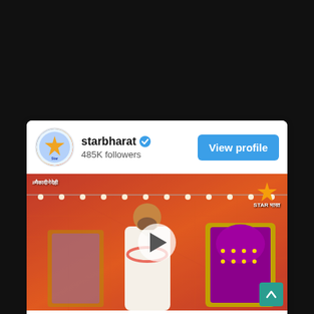[Figure (screenshot): Instagram/social media profile card for starbharat with 485K followers, showing a video thumbnail of a man in traditional Indian wedding attire (sherwani with garland) standing between ornate magenta thrones on an orange decorative background with lights. A play button overlay is visible. Star Bharat logo in top right of video. Hashtag text in top left. View profile button in top right of card. Scroll-to-top button in bottom right corner.]